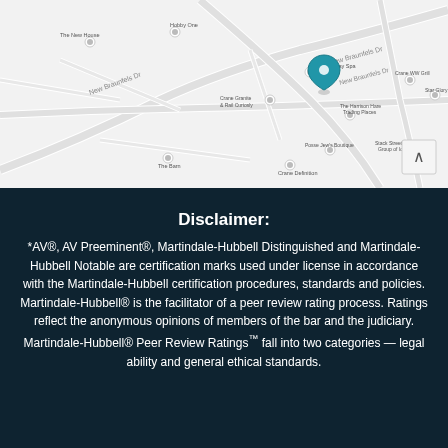[Figure (map): Google Maps screenshot showing a street map with a blue location pin marker, street names visible including New Braunfels Dr, and nearby businesses such as Crane Day Spa, Crane Granite & Rail Curiously, The Barn, Crane Definition, and others.]
Disclaimer:
*AV®, AV Preeminent®, Martindale-Hubbell Distinguished and Martindale-Hubbell Notable are certification marks used under license in accordance with the Martindale-Hubbell certification procedures, standards and policies. Martindale-Hubbell® is the facilitator of a peer review rating process. Ratings reflect the anonymous opinions of members of the bar and the judiciary. Martindale-Hubbell® Peer Review Ratings™ fall into two categories — legal ability and general ethical standards.